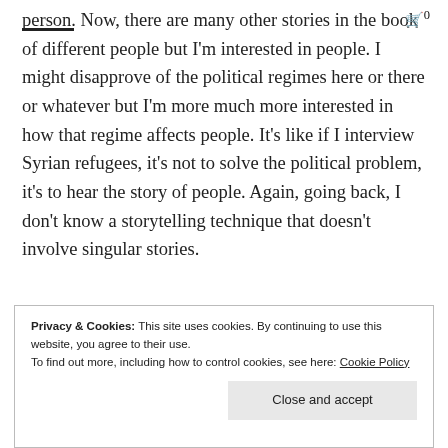person. Now, there are many other stories in the book of different people but I'm interested in people. I might disapprove of the political regimes here or there or whatever but I'm more much more interested in how that regime affects people. It's like if I interview Syrian refugees, it's not to solve the political problem, it's to hear the story of people. Again, going back, I don't know a storytelling technique that doesn't involve singular stories.
Privacy & Cookies: This site uses cookies. By continuing to use this website, you agree to their use.
To find out more, including how to control cookies, see here: Cookie Policy